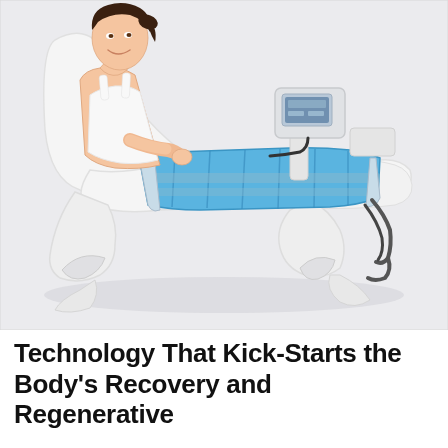[Figure (photo): A woman reclining on a white medical/spa chair with blue pneumatic compression leg sleeves covering both legs, connected to a white medical device with a screen. The chair has a modern sculpted white design. Background is light gray/white.]
Technology That Kick-Starts the Body's Recovery and Regenerative